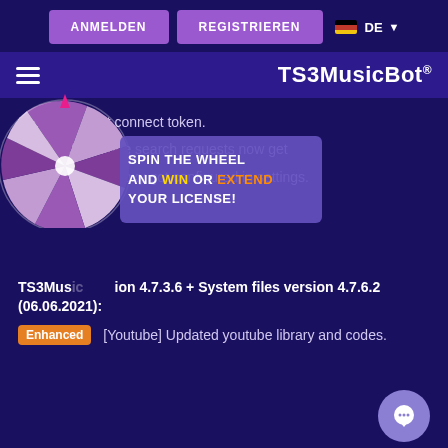ANMELDEN  REGISTRIEREN  DE
TS3MusicBot®
to setup client connect token.
All youtube search requests now get
roxy got configured in settings.
[Figure (illustration): Spin-the-wheel graphic with purple and pink segments and a tooltip saying SPIN THE WHEEL AND WIN OR EXTEND YOUR LICENSE!]
TS3MusicBot version 4.7.3.6 + System files version 4.7.6.2 (06.06.2021):
Enhanced  [Youtube] Updated youtube library and codes.